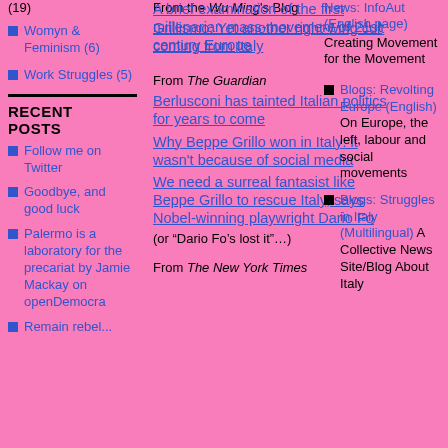(19)
Womyn & Feminism (6)
Work Struggles (5)
RECENT POSTS
Follow me on Twitter
Goodbye, and good luck
Palermo is a laboratory for the precariat by Jamie Mackay on openDemocra
Remain rebel...
From the Wu Ming's Blog
Grillismo: Yet another right-wing cult coming from Italy
From The Guardian
Berlusconi has tainted Italian politics for years to come
Why Beppe Grillo won in Italy: it wasn't because of social media
We need a surreal fantasist like Beppe Grillo to rescue Italy, says Nobel-winning playwright Dario Fo
(or “Dario Fo’s lost it”…)
From The New York Times
A brief examination of the first millenarian mass-movement of 21st century Europe
News: InfoAut (English page)
Creating Movement for the Movement
Blogs: Revolting Europe (English) On Europe, the left, labour and social movements
Blogs: Struggles in Italy (Multilingual) A Collective News Site/Blog About Italy